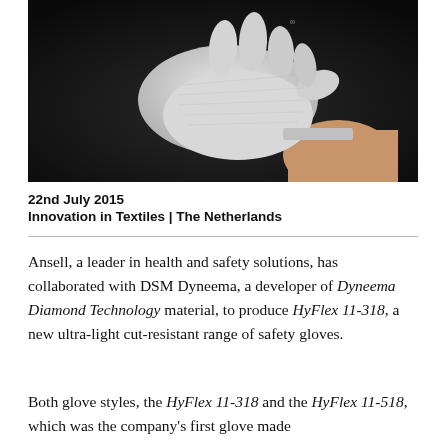[Figure (photo): Close-up photo of a white knitted safety glove on a human hand, photographed against a dark background. The glove appears lightweight with a textured surface.]
22nd July 2015
Innovation in Textiles | The Netherlands
Ansell, a leader in health and safety solutions, has collaborated with DSM Dyneema, a developer of Dyneema Diamond Technology material, to produce HyFlex 11-318, a new ultra-light cut-resistant range of safety gloves.
Both glove styles, the HyFlex 11-318 and the HyFlex 11-518, which was the company's first glove made